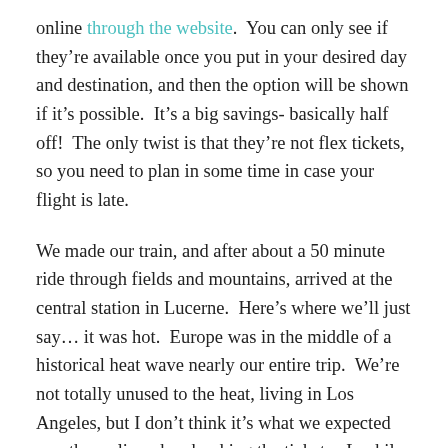online through the website.  You can only see if they're available once you put in your desired day and destination, and then the option will be shown if it's possible.  It's a big savings- basically half off!  The only twist is that they're not flex tickets, so you need to plan in some time in case your flight is late.
We made our train, and after about a 50 minute ride through fields and mountains, arrived at the central station in Lucerne.  Here's where we'll just say... it was hot.  Europe was in the middle of a historical heat wave nearly our entire trip.  We're not totally unused to the heat, living in Los Angeles, but I don't think it's what we expected months earlier when booking the tickets.  Luckily, we'd gotten organized, paring down luggage, and finding ways to get everything more portable.